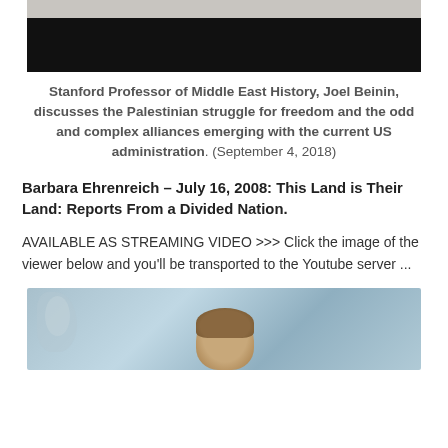[Figure (photo): Top portion of a video thumbnail or image, showing a dark/black band against a light background, partial view of a person above]
Stanford Professor of Middle East History, Joel Beinin, discusses the Palestinian struggle for freedom and the odd and complex alliances emerging with the current US administration. (September 4, 2018)
Barbara Ehrenreich – July 16, 2008: This Land is Their Land: Reports From a Divided Nation.
AVAILABLE AS STREAMING VIDEO >>> Click the image of the viewer below and you'll be transported to the Youtube server ...
[Figure (photo): Bottom image showing a person from behind with brown hair, against a blue/teal abstract background]